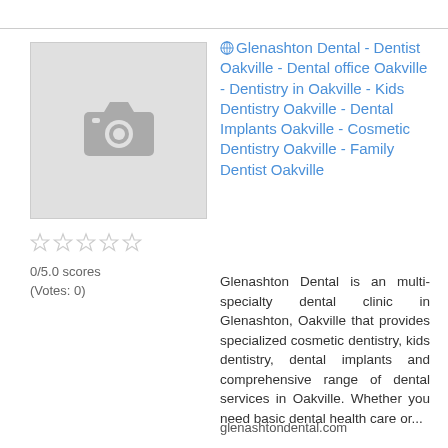[Figure (photo): Placeholder image thumbnail with camera icon on grey background]
🌐Glenashton Dental - Dentist Oakville - Dental office Oakville - Dentistry in Oakville - Kids Dentistry Oakville - Dental Implants Oakville - Cosmetic Dentistry Oakville - Family Dentist Oakville
0/5.0 scores (Votes: 0)
Glenashton Dental is an multi-specialty dental clinic in Glenashton, Oakville that provides specialized cosmetic dentistry, kids dentistry, dental implants and comprehensive range of dental services in Oakville. Whether you need basic dental health care or...
glenashtondental.com